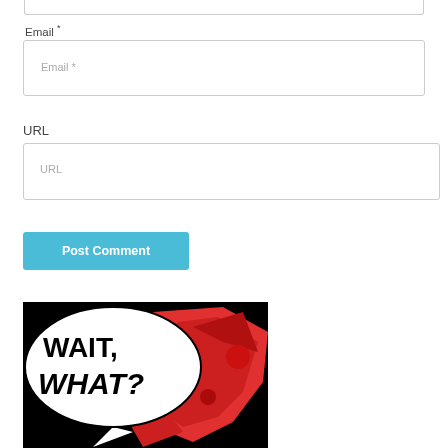Email *
Email *
URL
URL
Post Comment
[Figure (illustration): Comic book style image showing speech bubble with text 'WAIT, WHAT?' on black background with red comic-style figure]